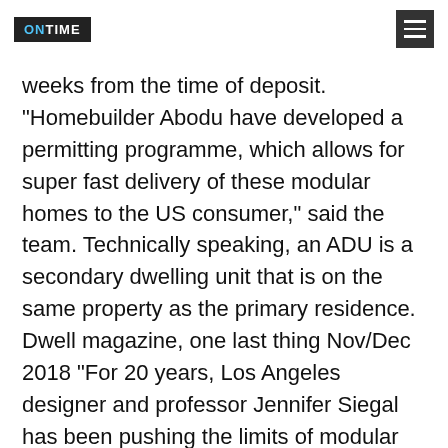ONTIME (logo) | menu button
weeks from the time of deposit. "Homebuilder Abodu have developed a permitting programme, which allows for super fast delivery of these modular homes to the US consumer," said the team. Technically speaking, an ADU is a secondary dwelling unit that is on the same property as the primary residence. Dwell magazine, one last thing Nov/Dec 2018 “For 20 years, Los Angeles designer and professor Jennifer Siegal has been pushing the limits of modular housing through her firm OMD, most recently with a series of prefab accessory dwelling units just released this fall.” Dezeen Weekly is a curated newsletter that is sent every Thursday, containing highlights from Dezeen. In Tiburon, a secluded town just north of San Francisco, SHED Architecture & Design, designed by NIb...